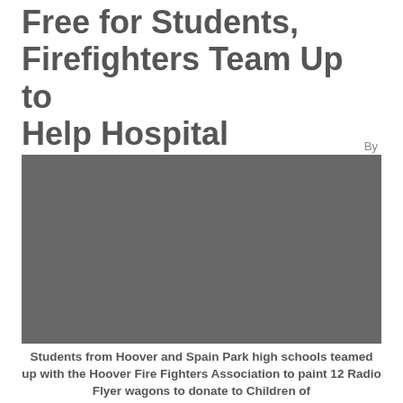Free for Students, Firefighters Team Up to Help Hospital
July 23, 2013
By
[Figure (photo): A photograph placeholder area showing a dark grey rectangle representing an image related to the story about students and firefighters helping a hospital.]
Students from Hoover and Spain Park high schools teamed up with the Hoover Fire Fighters Association to paint 12 Radio Flyer wagons to donate to Children of